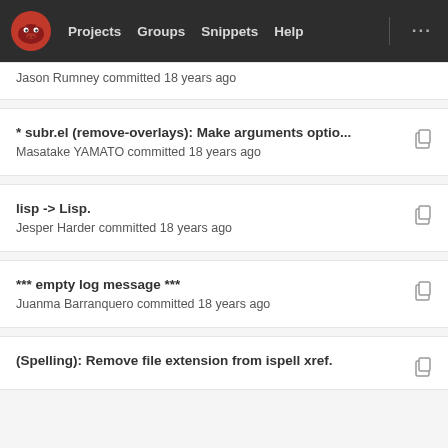Projects  Groups  Snippets  Help
Jason Rumney committed 18 years ago
* subr.el (remove-overlays): Make arguments optio...  Masatake YAMATO committed 18 years ago
lisp -> Lisp.  Jesper Harder committed 18 years ago
*** empty log message ***  Juanma Barranquero committed 18 years ago
(Spelling): Remove file extension from ispell xref.